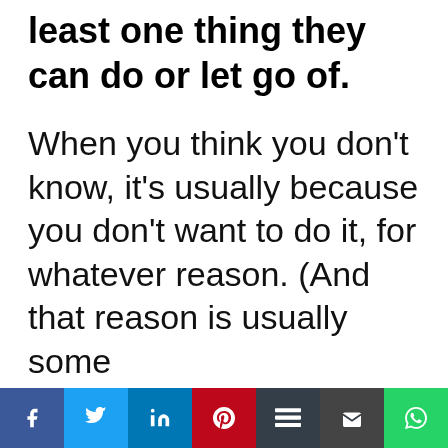least one thing they can do or let go of.
When you think you don't know, it's usually because you don't want to do it, for whatever reason. (And that reason is usually some